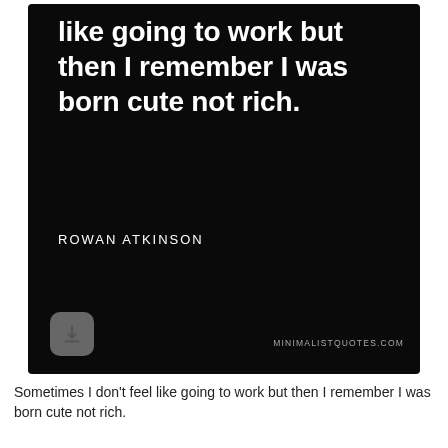[Figure (illustration): Dark black background quote card showing a humorous quote in large bold white text, with the author name 'ROWAN ATKINSON' in small caps below, a download arrow button at bottom-left, and 'MINIMALISTQUOTES.COM' watermark at bottom-right. The top portion of the quote is partially cropped.]
Sometimes I don't feel like going to work but then I remember I was born cute not rich.